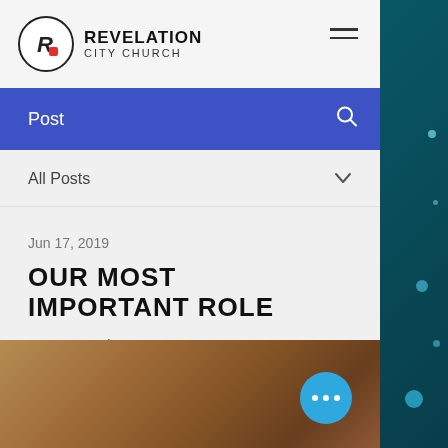REVELATION CITY CHURCH
Post
All Posts
Jun 17, 2019
OUR MOST IMPORTANT ROLE
By Pastor John Mateos Ong
[Figure (photo): Blurred warm-toned image, background of a blog post about 'Our Most Important Role']